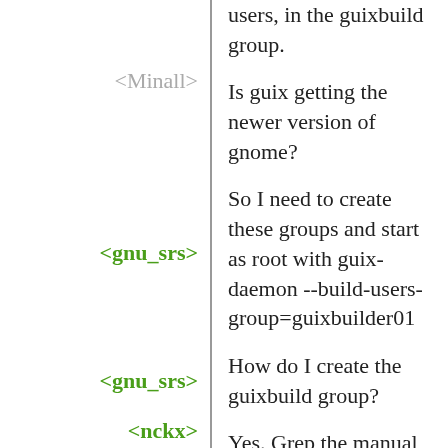users, in the guixbuild group.
<Minall> Is guix getting the newer version of gnome?
<gnu_srs> So I need to create these groups and start as root with guix-daemon --build-users-group=guixbuilder01
<gnu_srs> How do I create the guixbuild group?
<nckx> Yes. Grep the manual for these names; creating them is a